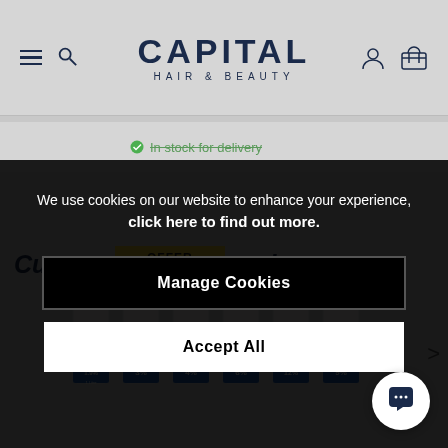[Figure (screenshot): Capital Hair & Beauty website header with logo, hamburger menu, search, account and basket icons]
✓ In stock for delivery
Customers also bought
We use cookies on our website to enhance your experience, click here to find out more.
Manage Cookies
Accept All
[Figure (photo): Row of Creme Peroxide bottles at various concentrations: 1.9%, 3%, 4%, 6%, 12%, 9% with OFFER badge]